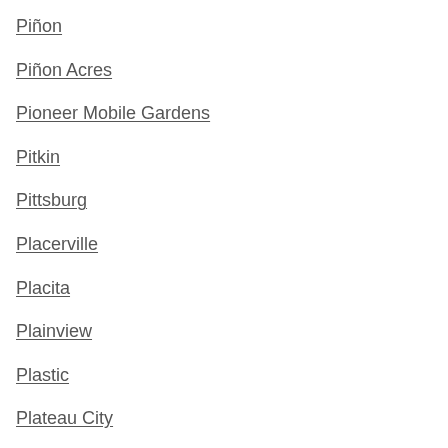Piñon
Piñon Acres
Pioneer Mobile Gardens
Pitkin
Pittsburg
Placerville
Placita
Plainview
Plastic
Plateau City